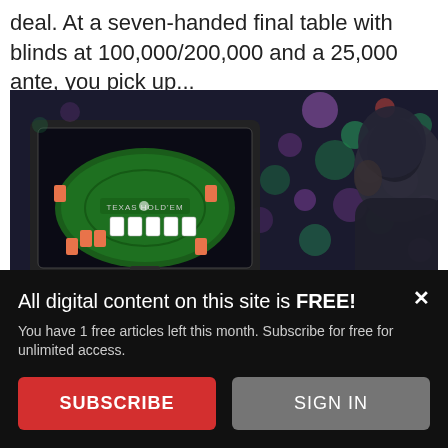deal. At a seven-handed final table with blinds at 100,000/200,000 and a 25,000 ante, you pick up...
[Figure (photo): A person in profile view sitting at a computer playing online poker (Texas Hold'em), with colorful bokeh lights in the background.]
Essential Tips for Online Poker
By Jonathan Little | June 8, 2020
All digital content on this site is FREE! You have 1 free articles left this month. Subscribe for free for unlimited access.